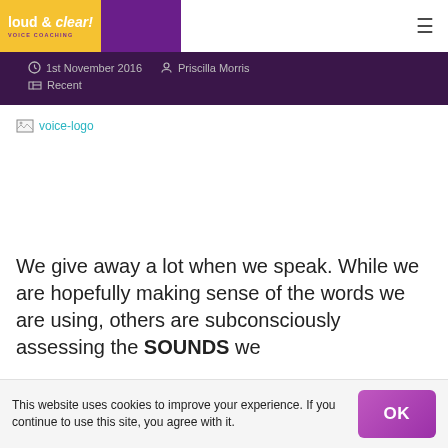loud & clear! Voice Coaching
1st November 2016  Priscilla Morris  Recent
[Figure (other): Broken image placeholder labeled 'voice-logo']
We give away a lot when we speak. While we are hopefully making sense of the words we are using, others are subconsciously assessing the SOUNDS we
This website uses cookies to improve your experience. If you continue to use this site, you agree with it.